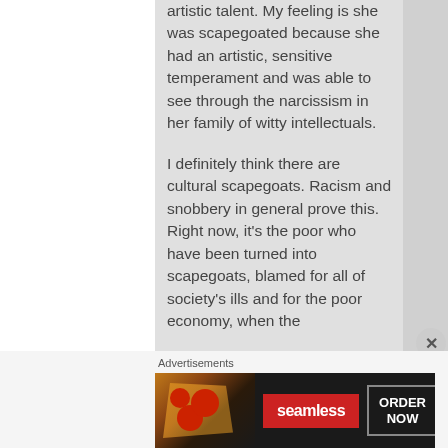artistic talent. My feeling is she was scapegoated because she had an artistic, sensitive temperament and was able to see through the narcissism in her family of witty intellectuals.
I definitely think there are cultural scapegoats. Racism and snobbery in general prove this. Right now, it's the poor who have been turned into scapegoats, blamed for all of society's ills and for the poor economy, when the
[Figure (other): Seamless food delivery advertisement banner showing pizza and ORDER NOW button]